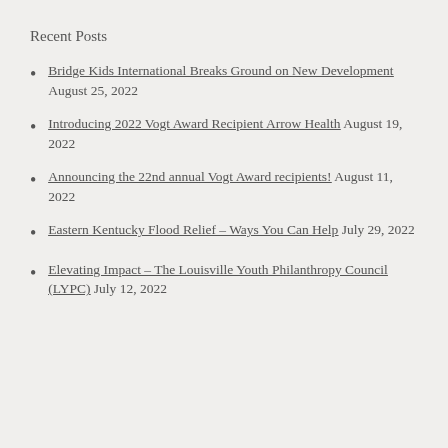Recent Posts
Bridge Kids International Breaks Ground on New Development August 25, 2022
Introducing 2022 Vogt Award Recipient Arrow Health August 19, 2022
Announcing the 22nd annual Vogt Award recipients! August 11, 2022
Eastern Kentucky Flood Relief – Ways You Can Help July 29, 2022
Elevating Impact – The Louisville Youth Philanthropy Council (LYPC) July 12, 2022